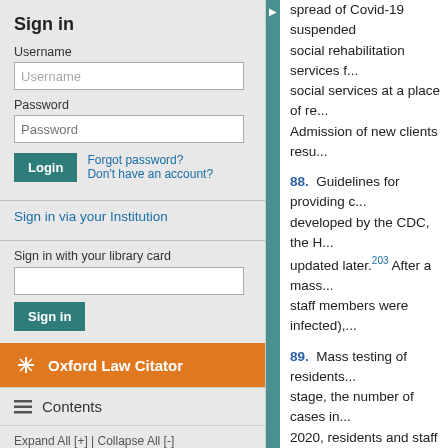Sign in
Username
Password
Forgot password? Don't have an account?
Sign in via your Institution
Sign in with your library card
Oxford Law Citator
Contents
Expand All [+] | Collapse All [-]
Sign up for alerts
spread of Covid-19 suspended social rehabilitation services f... social services at a place of re... Admission of new clients resu...
88. Guidelines for providing c... developed by the CDC, the H... updated later.203 After a mass... staff members were infected),...
89. Mass testing of residents... stage, the number of cases in... 2020, residents and staff of so... 500–700 new cases per week... people in total. The Ministry o... infection throughout Latvia.208... in social care institutions.209 V... 2021.
B. Enforcement and co...
1. Enforcement
90. The duties of individual S...